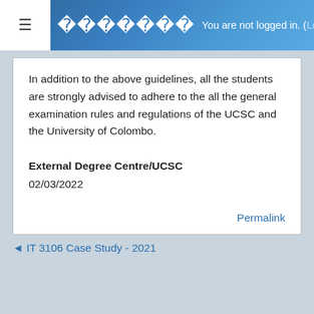You are not logged in. (Log in)
In addition to the above guidelines, all the students are strongly advised to adhere to the all the general examination rules and regulations of the UCSC and the University of Colombo.
External Degree Centre/UCSC
02/03/2022
Permalink
◄ IT 3106 Case Study - 2021